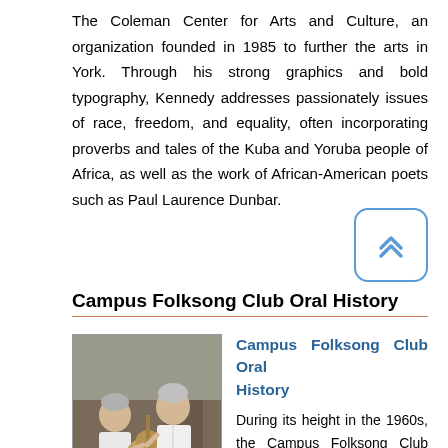The Coleman Center for Arts and Culture, an organization founded in 1985 to further the arts in York. Through his strong graphics and bold typography, Kennedy addresses passionately issues of race, freedom, and equality, often incorporating proverbs and tales of the Kuba and Yoruba people of Africa, as well as the work of African-American poets such as Paul Laurence Dunbar.
[Figure (other): A blue rounded-rectangle button with a double upward chevron arrow icon, used as a back-to-top navigation element.]
Campus Folksong Club Oral History
[Figure (photo): Two older adults sitting together, one playing an acoustic guitar. They appear to be indoors in a casual setting.]
Campus Folksong Club Oral History
During its height in the 1960s, the Campus Folksong Club (CFC) had over 500 members – making it an astonishingly large student organization and an important force in bringing culture from Illinois and beyond to the UIUC